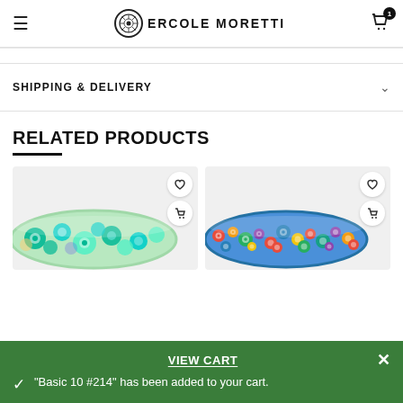Ercole Moretti
SHIPPING & DELIVERY
RELATED PRODUCTS
[Figure (photo): Murano glass bowl with green and teal millefiori pattern on light background, with heart and cart action buttons]
[Figure (photo): Murano glass bowl with colorful multicolor millefiori pattern in blue, red, orange, yellow on light background, with heart and cart action buttons]
VIEW CART
"Basic 10 #214" has been added to your cart.